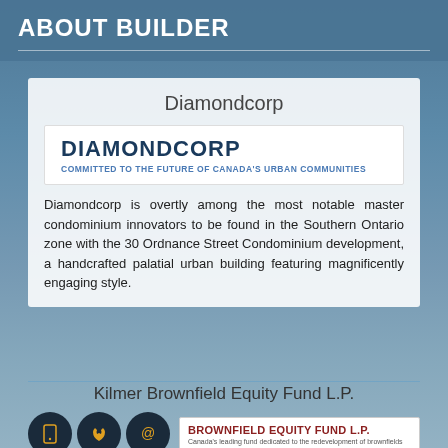ABOUT BUILDER
Diamondcorp
[Figure (logo): Diamondcorp logo with text: DIAMONDCORP, COMMITTED TO THE FUTURE OF CANADA'S URBAN COMMUNITIES]
Diamondcorp is overtly among the most notable master condominium innovators to be found in the Southern Ontario zone with the 30 Ordnance Street Condominium development, a handcrafted palatial urban building featuring magnificently engaging style.
Kilmer Brownfield Equity Fund L.P.
[Figure (logo): Kilmer Brownfield Equity Fund L.P. logo with tagline: Canada's leading fund dedicated to the redevelopment of brownfields]